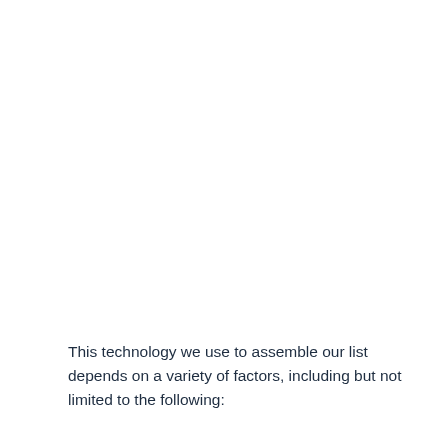This technology we use to assemble our list depends on a variety of factors, including but not limited to the following: